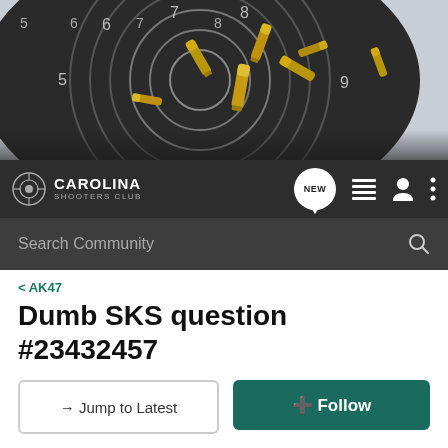[Figure (photo): Shooting target with bullet casings/shells scattered on it, black and white target with numbered rings, golden brass casings]
Carolina Shooters Club — Navigation bar with NEW chat button, list icon, user icon, menu icon, and Search Community bar
< AK47
Dumb SKS question #23432457
→ Jump to Latest   ⊕ Follow
1 - 4 of 4 Posts
sr30 · Wings of Gold 1990
Joined Aug 13, 2011 · 6,752 Posts